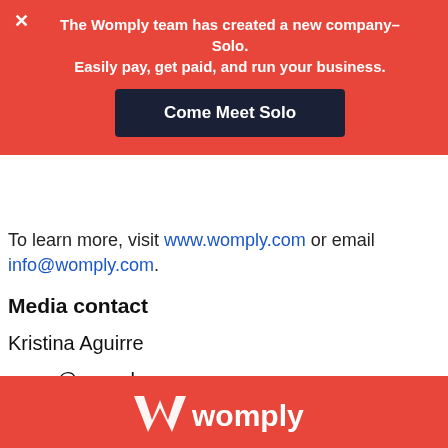The Womply team has created a new company–Solo. Easily pay, get paid, and run your business.
Come Meet Solo
To learn more, visit www.womply.com or email info@womply.com.
Media contact
Kristina Aguirre
press@womply.com
«« Previous Press Post
Next Press Post »»
[Figure (logo): Womply logo in white on red background footer]